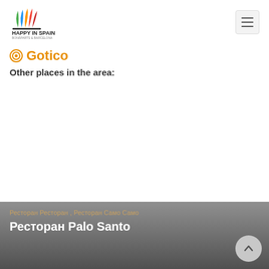HAPPY IN SPAIN
⊙ Gotico
Other places in the area:
Ресторан Palo Santo